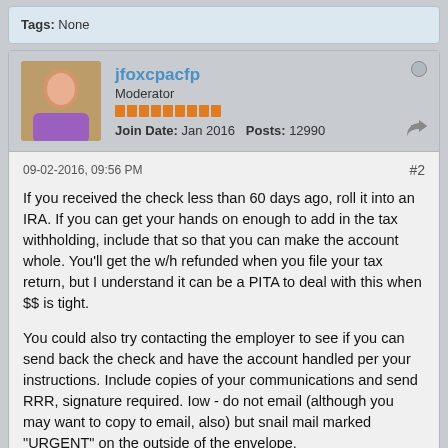Tags: None
jfoxcpacfp
Moderator
Join Date: Jan 2016   Posts: 12990
09-02-2016, 09:56 PM
#2
If you received the check less than 60 days ago, roll it into an IRA. If you can get your hands on enough to add in the tax withholding, include that so that you can make the account whole. You'll get the w/h refunded when you file your tax return, but I understand it can be a PITA to deal with this when $$ is tight.

You could also try contacting the employer to see if you can send back the check and have the account handled per your instructions. Include copies of your communications and send RRR, signature required. Iow - do not email (although you may want to copy to email, also) but snail mail marked "URGENT" on the outside of the envelope.